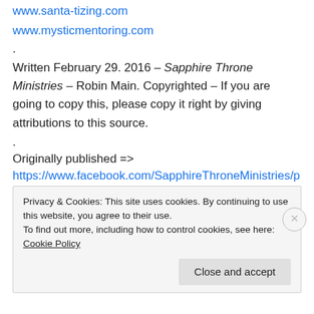www.santa-tizing.com
www.mysticmentoring.com
.
Written February 29. 2016 – Sapphire Throne Ministries – Robin Main. Copyrighted – If you are going to copy this, please copy it right by giving attributions to this source.
.
Originally published =>
https://www.facebook.com/SapphireThroneMinistries/photos/a.436008649804968.101323.436004819805351/10499659938409233/?type=3&theater
Privacy & Cookies: This site uses cookies. By continuing to use this website, you agree to their use.
To find out more, including how to control cookies, see here: Cookie Policy
Close and accept